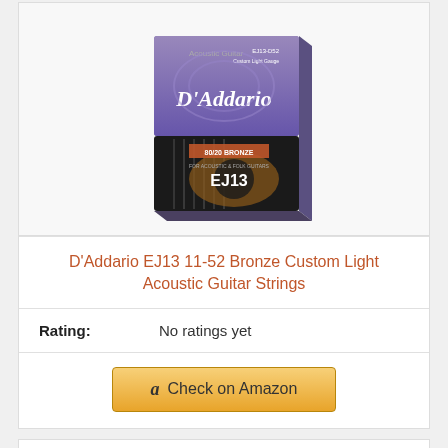[Figure (photo): Product photo of D'Addario EJ13 11-52 Bronze Custom Light Acoustic Guitar Strings packaging, showing a purple and black box with the D'Addario logo and guitar strings imagery.]
D'Addario EJ13 11-52 Bronze Custom Light Acoustic Guitar Strings
Rating: No ratings yet
Check on Amazon
Bestseller No. 8